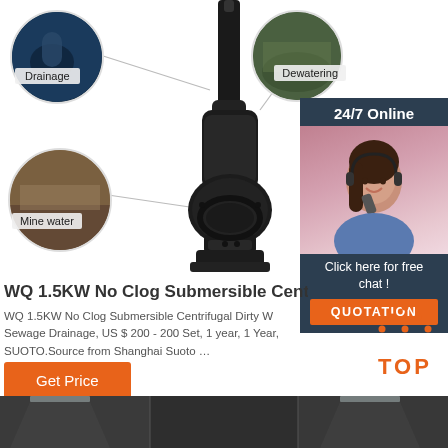[Figure (photo): Product page for WQ 1.5KW No Clog Submersible Centrifugal pump. Shows a central pump image with application circles (Drainage, Mine water, Dewatering), a 24/7 Online customer service sidebar with agent photo, quotation button, and Get Price button. Bottom shows a dark industrial warehouse strip.]
Drainage
Mine water
Dewatering
24/7 Online
Click here for free chat !
QUOTATION
WQ 1.5KW No Clog Submersible Centrifugal D
WQ 1.5KW No Clog Submersible Centrifugal Dirty W Sewage Drainage, US $ 200 - 200 Set, 1 year, 1 Year, SUOTO.Source from Shanghai Suoto …
Get Price
TOP